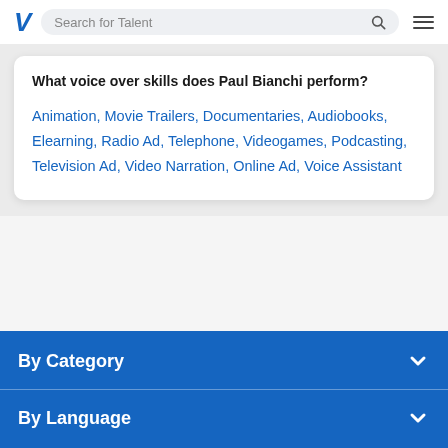V  Search for Talent
What voice over skills does Paul Bianchi perform?
Animation, Movie Trailers, Documentaries, Audiobooks, Elearning, Radio Ad, Telephone, Videogames, Podcasting, Television Ad, Video Narration, Online Ad, Voice Assistant
By Category
By Language